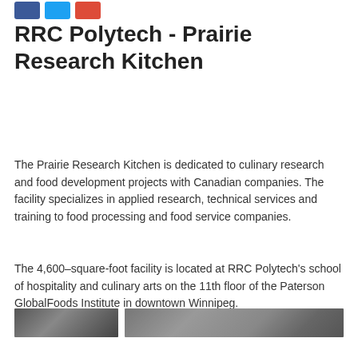[Figure (other): Social share buttons: Facebook (blue), Twitter (light blue), Google+ (red)]
RRC Polytech - Prairie Research Kitchen
The Prairie Research Kitchen is dedicated to culinary research and food development projects with Canadian companies. The facility specializes in applied research, technical services and training to food processing and food service companies.
The 4,600–square-foot facility is located at RRC Polytech's school of hospitality and culinary arts on the 11th floor of the Paterson GlobalFoods Institute in downtown Winnipeg.
[Figure (photo): Two partial photo thumbnails of the Prairie Research Kitchen facility]